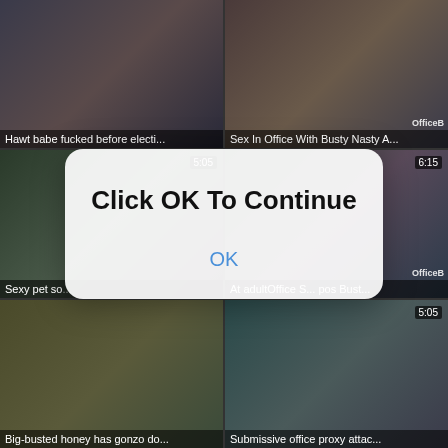[Figure (screenshot): Video thumbnail grid showing 6 adult video thumbnails in a 2x3 grid layout with titles and durations. A modal dialog overlays the center with 'Click OK To Continue' text and an OK button.]
Hawt babe fucked before electi...
Sex In Office With Busty Nasty A...
Sexy pet so...
At adultOffice S... pos Bust...
Big-busted honey has gonzo do...
Submissive office proxy attac...
Click OK To Continue
OK